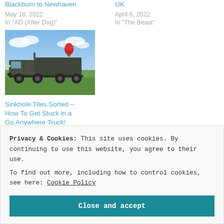Blackburn to Newhaven
May 18, 2022
In "AD (After Dog)"
UK
April 6, 2022
In "The Beast"
[Figure (photo): A large military-style truck/overlanding vehicle parked in a green field with a blue sky and a red hot air balloon visible in the background]
Sinkhole.Tiles.Sorted – How To Get Stuck in a Go Anywhere Truck!
May 4, 2022
In "AD (After Dog)"
Privacy & Cookies: This site uses cookies. By continuing to use this website, you agree to their use.
To find out more, including how to control cookies, see here: Cookie Policy
Close and accept